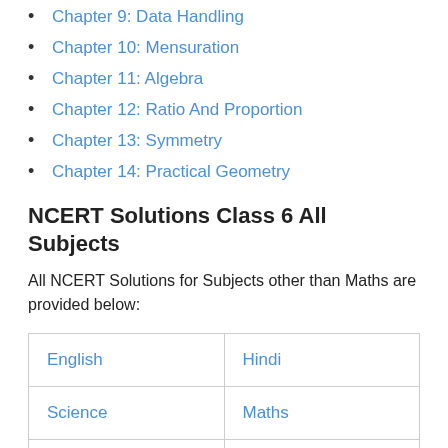Chapter 9: Data Handling
Chapter 10: Mensuration
Chapter 11: Algebra
Chapter 12: Ratio And Proportion
Chapter 13: Symmetry
Chapter 14: Practical Geometry
NCERT Solutions Class 6 All Subjects
All NCERT Solutions for Subjects other than Maths are provided below:
| English | Hindi |
| Science | Maths |
| Social Science |  |
Other Class NCERT Solutions